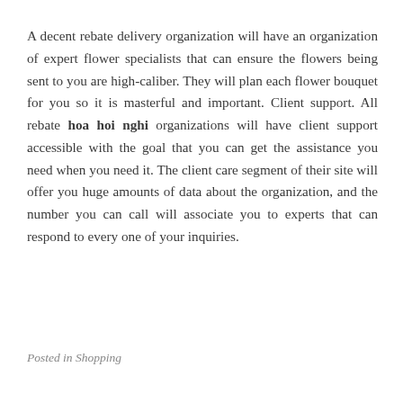A decent rebate delivery organization will have an organization of expert flower specialists that can ensure the flowers being sent to you are high-caliber. They will plan each flower bouquet for you so it is masterful and important. Client support. All rebate hoa hoi nghi organizations will have client support accessible with the goal that you can get the assistance you need when you need it. The client care segment of their site will offer you huge amounts of data about the organization, and the number you can call will associate you to experts that can respond to every one of your inquiries.
Posted in Shopping